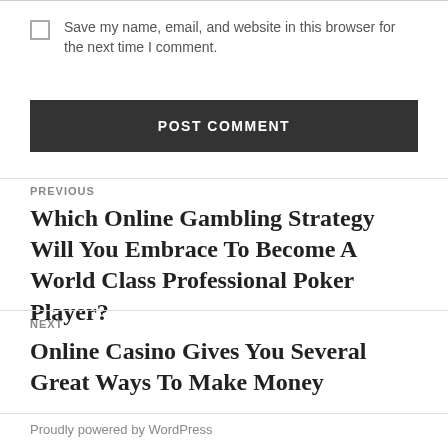Save my name, email, and website in this browser for the next time I comment.
POST COMMENT
PREVIOUS
Which Online Gambling Strategy Will You Embrace To Become A World Class Professional Poker Player?
NEXT
Online Casino Gives You Several Great Ways To Make Money
Proudly powered by WordPress